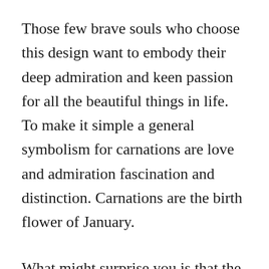Those few brave souls who choose this design want to embody their deep admiration and keen passion for all the beautiful things in life. To make it simple a general symbolism for carnations are love and admiration fascination and distinction. Carnations are the birth flower of January.
What might surprise you is that the carnation tattoo is sometimes used in religious designs. A pink carnation within a tattoo usually represents an unwavering love for someone or holding to an ideal. According to some beliefs this flower first emerged on earth from the tears